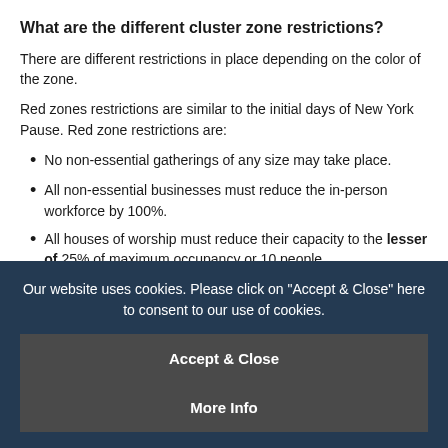What are the different cluster zone restrictions?
There are different restrictions in place depending on the color of the zone.
Red zones restrictions are similar to the initial days of New York Pause. Red zone restrictions are:
No non-essential gatherings of any size may take place.
All non-essential businesses must reduce the in-person workforce by 100%.
All houses of worship must reduce their capacity to the lesser of 25% of maximum occupancy or 10 people.
Our website uses cookies. Please click on "Accept & Close" here to consent to our use of cookies.
Accept & Close
More Info